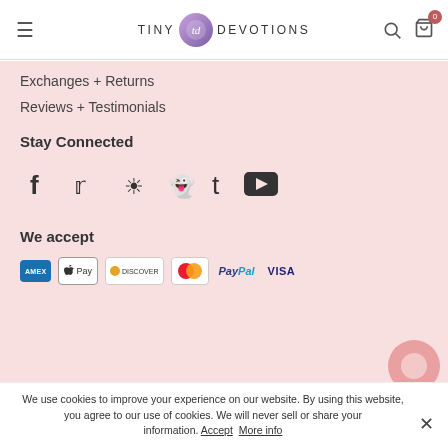Tiny Devotions — navigation header with logo, search, and cart icons
Exchanges + Returns
Reviews + Testimonials
Stay Connected
[Figure (infographic): Social media icons: Facebook, Twitter, Instagram, Snapchat, Tumblr, YouTube]
We accept
[Figure (infographic): Payment icons: American Express, Apple Pay, Diners Club/Discover, Mastercard, PayPal, Visa]
We use cookies to improve your experience on our website. By using this website, you agree to our use of cookies. We will never sell or share your information. Accept More info